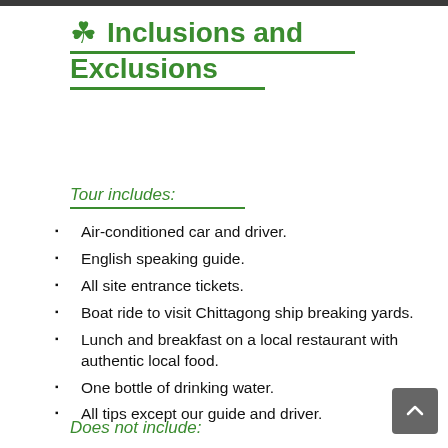Inclusions and Exclusions
Tour includes:
Air-conditioned car and driver.
English speaking guide.
All site entrance tickets.
Boat ride to visit Chittagong ship breaking yards.
Lunch and breakfast on a local restaurant with authentic local food.
One bottle of drinking water.
All tips except our guide and driver.
Does not include: